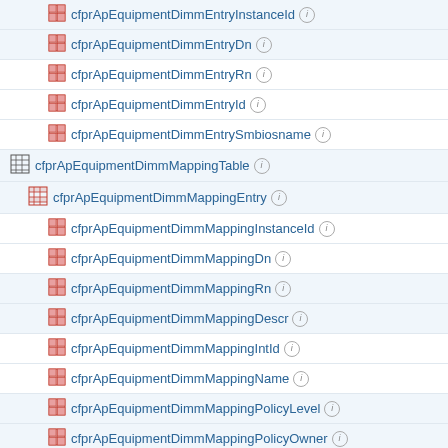cfprApEquipmentDimmEntryInstanceId
cfprApEquipmentDimmEntryDn
cfprApEquipmentDimmEntryRn
cfprApEquipmentDimmEntryId
cfprApEquipmentDimmEntrySmbiosname
cfprApEquipmentDimmMappingTable
cfprApEquipmentDimmMappingEntry
cfprApEquipmentDimmMappingInstanceId
cfprApEquipmentDimmMappingDn
cfprApEquipmentDimmMappingRn
cfprApEquipmentDimmMappingDescr
cfprApEquipmentDimmMappingIntId
cfprApEquipmentDimmMappingName
cfprApEquipmentDimmMappingPolicyLevel
cfprApEquipmentDimmMappingPolicyOwner